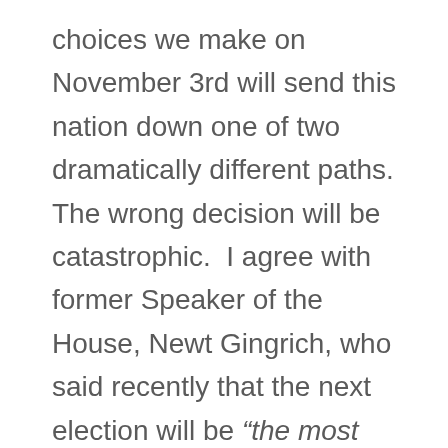choices we make on November 3rd will send this nation down one of two dramatically different paths. The wrong decision will be catastrophic.  I agree with former Speaker of the House, Newt Gingrich, who said recently that the next election will be “the most important since 1860.”  He also warned that if we appease or ignore the violence and anarchy occurring in the streets, it might be the end of civilization as we have known it.  Those are sobering words coming